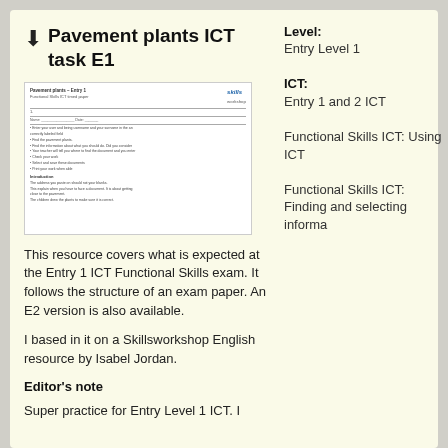Pavement plants ICT task E1
[Figure (other): Thumbnail preview of the Pavement plants ICT task worksheet showing a skills logo, task instructions, and introduction text.]
This resource covers what is expected at the Entry 1 ICT Functional Skills exam. It follows the structure of an exam paper. An E2 version is also available.
I based in it on a Skillsworkshop English resource by Isabel Jordan.
Editor's note
Super practice for Entry Level 1 ICT. I
Level:
Entry Level 1
ICT:
Entry 1 and 2 ICT Functional Skills ICT: Using ICT Functional Skills ICT: Finding and selecting informa